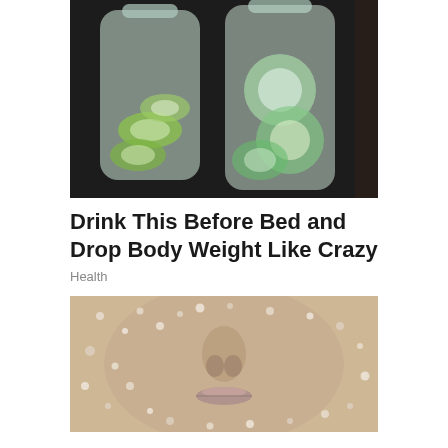[Figure (photo): Two clear glass bottles filled with water and sliced cucumber pieces, set against a dark background]
Drink This Before Bed and Drop Body Weight Like Crazy
Health
[Figure (photo): Close-up of a person's face covered in coarse salt or sugar granules as an exfoliation treatment]